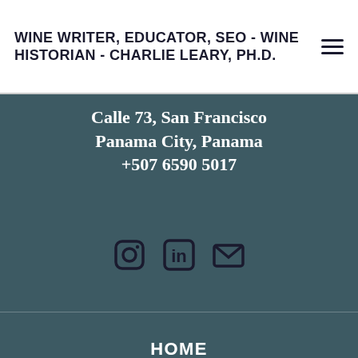WINE WRITER, EDUCATOR, SEO - WINE HISTORIAN - CHARLIE LEARY, PH.D.
Calle 73, San Francisco
Panama City, Panama
+507 6590 5017
[Figure (infographic): Three social media/contact icons: Instagram camera icon, LinkedIn 'in' icon, and email envelope icon, displayed in a row]
HOME
SERVICES